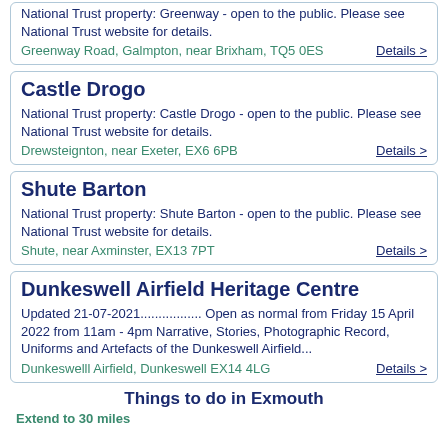National Trust property: Greenway - open to the public. Please see National Trust website for details.
Greenway Road, Galmpton, near Brixham, TQ5 0ES
Details >
Castle Drogo
National Trust property: Castle Drogo - open to the public. Please see National Trust website for details.
Drewsteignton, near Exeter, EX6 6PB
Details >
Shute Barton
National Trust property: Shute Barton - open to the public. Please see National Trust website for details.
Shute, near Axminster, EX13 7PT
Details >
Dunkeswell Airfield Heritage Centre
Updated 21-07-2021............... Open as normal from Friday 15 April 2022 from 11am - 4pm Narrative, Stories, Photographic Record, Uniforms and Artefacts of the Dunkeswell Airfield...
Dunkeswelll Airfield, Dunkeswell EX14 4LG
Details >
Things to do in Exmouth
Extend to 30 miles